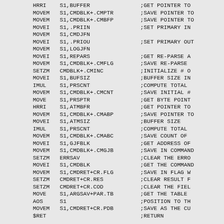Assembly language source code listing with mnemonics, operands, and comments